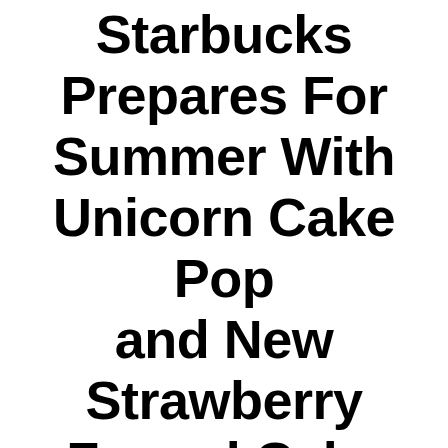Starbucks Prepares For Summer With Unicorn Cake Pop and New Strawberry Funnel Cake Frappuccino